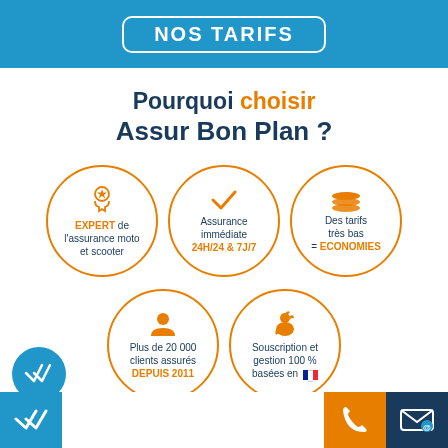NOS TARIFS
Pourquoi choisir Assur Bon Plan ?
[Figure (infographic): Three circular icons: 1) EXPERT de l'assurance moto et scooter, 2) Assurance immédiate 24H/24 & 7J/7, 3) Des tarifs très bas = ECONOMIES]
[Figure (infographic): Two circular icons: 1) Plus de 20 000 clients assurés DEPUIS 2011, 2) Souscription et gestion 100 % basées en France (French flag)]
[Figure (infographic): Bottom bar with blue check icon, orange phone icon, dark blue email icon]